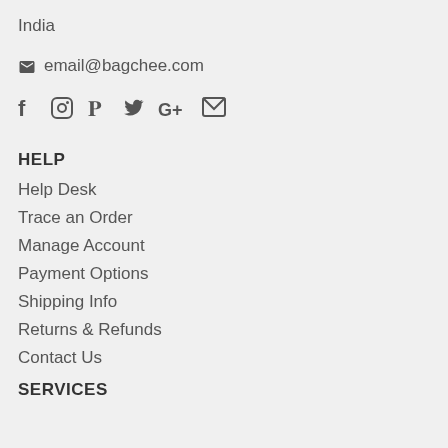India
email@bagchee.com
[Figure (other): Social media icons: Facebook, Instagram, Pinterest, Twitter, Google+, Email]
HELP
Help Desk
Trace an Order
Manage Account
Payment Options
Shipping Info
Returns & Refunds
Contact Us
SERVICES